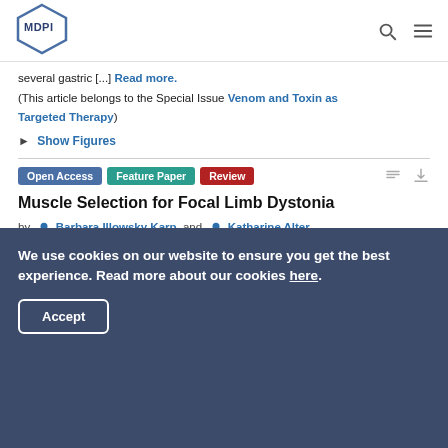[Figure (logo): MDPI logo — hexagonal outline with MDPI text inside]
several gastric [...] Read more.
(This article belongs to the Special Issue Venom and Toxin as Targeted Therapy)
► Show Figures
Open Access   Feature Paper   Review
Muscle Selection for Focal Limb Dystonia
by Barbara Illowsky Karp and Katharine Alter
Toxins 2018, 10(1), 20; https://doi.org/10.3390/toxins10010020 - 29 Dec 2017
Cited by 4 | Viewed by 3443
We use cookies on our website to ensure you get the best experience. Read more about our cookies here.
Accept